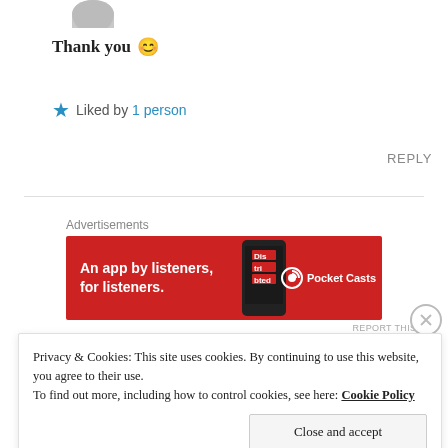[Figure (photo): Partial avatar/profile photo at top of page]
Thank you 😊
★ Liked by 1 person
REPLY
Advertisements
[Figure (illustration): Pocket Casts advertisement banner: red background with phone graphic, text 'An app by listeners, for listeners.' and Pocket Casts logo]
REPORT THIS AD
Privacy & Cookies: This site uses cookies. By continuing to use this website, you agree to their use.
To find out more, including how to control cookies, see here: Cookie Policy
Close and accept